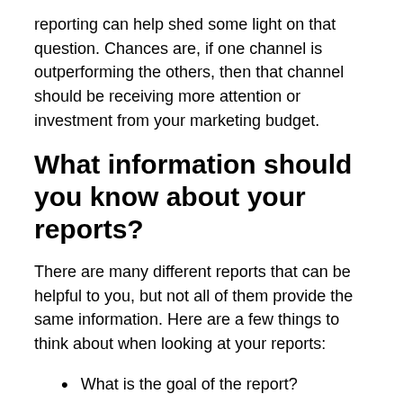reporting can help shed some light on that question. Chances are, if one channel is outperforming the others, then that channel should be receiving more attention or investment from your marketing budget.
What information should you know about your reports?
There are many different reports that can be helpful to you, but not all of them provide the same information. Here are a few things to think about when looking at your reports:
What is the goal of the report?
How often does this report update?